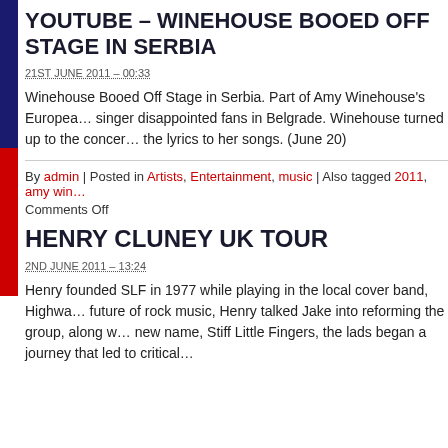YOUTUBE – WINEHOUSE BOOED OFF STAGE IN SERBIA
21ST JUNE 2011 – 00:33
Winehouse Booed Off Stage in Serbia. Part of Amy Winehouse's European tour, the singer disappointed fans in Belgrade. Winehouse turned up to the concert forgetting the lyrics to her songs. (June 20)
By admin | Posted in Artists, Entertainment, music | Also tagged 2011, amy win… Comments Off
HENRY CLUNEY UK TOUR
2ND JUNE 2011 – 13:24
Henry founded SLF in 1977 while playing in the local cover band, Highway Star. A future of rock music, Henry talked Jake into reforming the group, along w… new name, Stiff Little Fingers, the lads began a journey that led to critical…